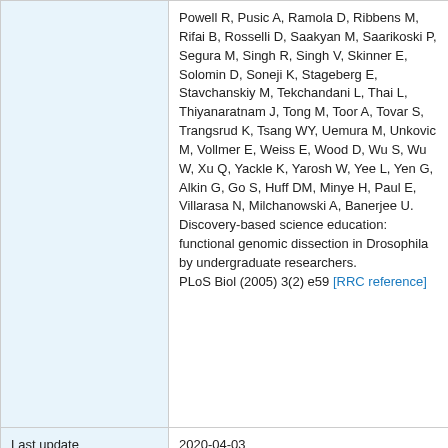|  |  |
| --- | --- |
|  | Powell R, Pusic A, Ramola D, Ribbens M, Rifai B, Rosselli D, Saakyan M, Saarikoski P, Segura M, Singh R, Singh V, Skinner E, Solomin D, Soneji K, Stageberg E, Stavchanskiy M, Tekchandani L, Thai L, Thiyanaratnam J, Tong M, Toor A, Tovar S, Trangsrud K, Tsang WY, Uemura M, Unkovic M, Vollmer E, Weiss E, Wood D, Wu S, Wu W, Xu Q, Yackle K, Yarosh W, Yee L, Yen G, Alkin G, Go S, Huff DM, Minye H, Paul E, Villarasa N, Milchanowski A, Banerjee U.
Discovery-based science education: functional genomic dissection in Drosophila by undergraduate researchers.
PLoS Biol (2005) 3(2) e59 [RRC reference] |
| Last update | 2020-04-03 |
| Research papers using this strain
[Please submit your publication] | Tseng CY, Burel M, Cammer M, Harsh S, Flaherty MS, Baumgartner S, Bach EA.
chinmo-mutant spermatogonial stem cells cause mitotic drive by evicting non-mutant neighbors from the niche.
Dev Cell (2022) 57(1) 80-94 e7 |